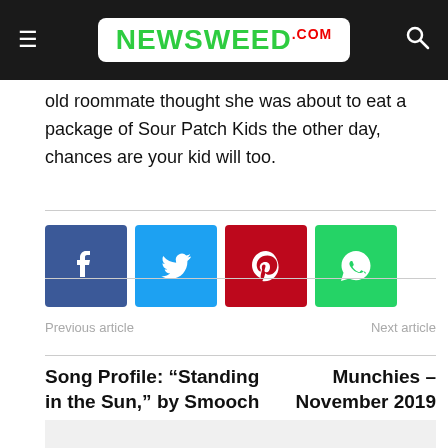NEWSWEED.COM
old roommate thought she was about to eat a package of Sour Patch Kids the other day, chances are your kid will too.
[Figure (other): Social sharing buttons: Facebook (blue), Twitter (cyan), Pinterest (red), WhatsApp (green)]
Previous article
Next article
Song Profile: “Standing in the Sun,” by Smooch
Munchies – November 2019